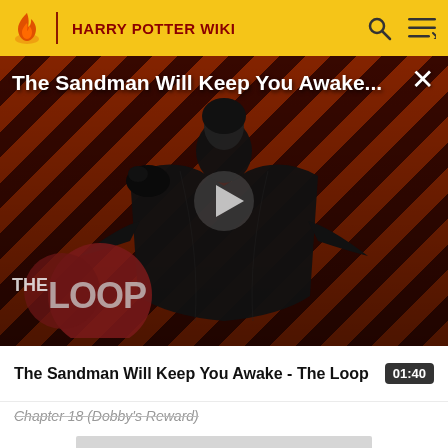HARRY POTTER WIKI
[Figure (screenshot): Video thumbnail for 'The Sandman Will Keep You Awake - The Loop' showing a dark figure in black robes against diagonal red and dark striped background with THE LOOP logo in bottom left, a play button in center, and a close X button top right.]
The Sandman Will Keep You Awake - The Loop
01:40
Chapter 18 (Dobby's Reward)